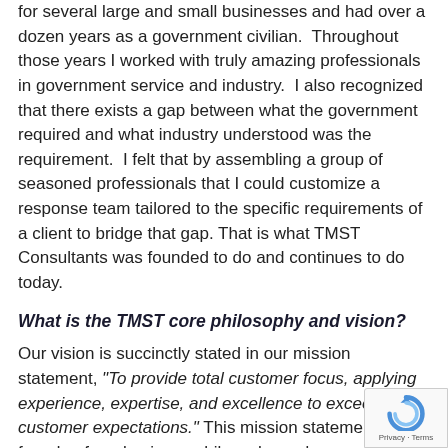for several large and small businesses and had over a dozen years as a government civilian.  Throughout those years I worked with truly amazing professionals in government service and industry.  I also recognized that there exists a gap between what the government required and what industry understood was the requirement.  I felt that by assembling a group of seasoned professionals that I could customize a response team tailored to the specific requirements of a client to bridge that gap. That is what TMST Consultants was founded to do and continues to do today.
What is the TMST core philosophy and vision?
Our vision is succinctly stated in our mission statement, “To provide total customer focus, applying experience, expertise, and excellence to exceed customer expectations.” This mission statement is the founda of our business philosophy and company culture. seek out independent consultants who have years of